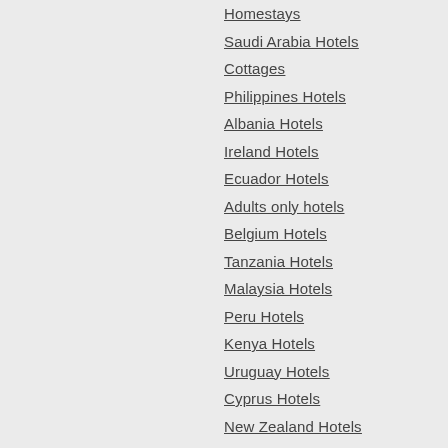Homestays
Saudi Arabia Hotels
Cottages
Philippines Hotels
Albania Hotels
Ireland Hotels
Ecuador Hotels
Adults only hotels
Belgium Hotels
Tanzania Hotels
Malaysia Hotels
Peru Hotels
Kenya Hotels
Uruguay Hotels
Cyprus Hotels
New Zealand Hotels
Taiwan Hotels